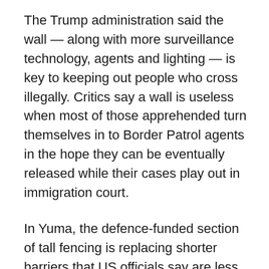The Trump administration said the wall — along with more surveillance technology, agents and lighting — is key to keeping out people who cross illegally. Critics say a wall is useless when most of those apprehended turn themselves in to Border Patrol agents in the hope they can be eventually released while their cases play out in immigration court.
In Yuma, the defence-funded section of tall fencing is replacing shorter barriers that US officials say are less efficient. It comes amid a steep increase since last year in the number of migrant families who cross the border illegally in the Yuma area, often turning themselves in to Border Patrol agents. Many are fleeing extreme poverty and violence, and some are seeking asylum.
So far this year, Border Patrol agents in the Yuma sector have apprehended over 51,000 family units. That's compared